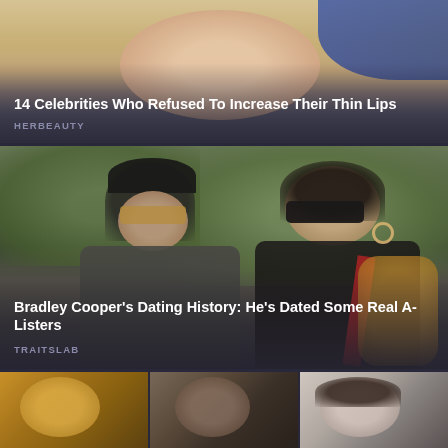[Figure (photo): Close-up photo of a blonde woman's face cropped from forehead to chin]
14 Celebrities Who Refused To Increase Their Thin Lips
HERBEAUTY
[Figure (photo): Outdoor street photo of Bradley Cooper and Irina Shayk walking together wearing sunglasses]
Bradley Cooper's Dating History: He's Dated Some Real A-Listers
TRAITSLAB
[Figure (photo): Three small thumbnail images in a row at the bottom of the page]